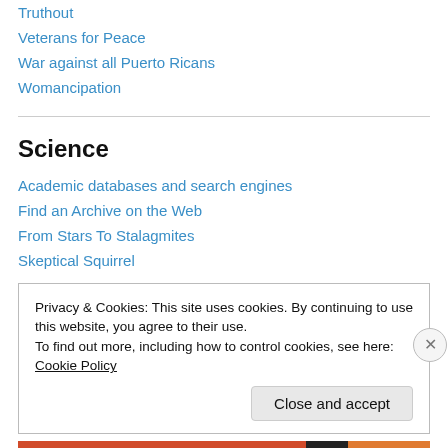Truthout
Veterans for Peace
War against all Puerto Ricans
Womancipation
Science
Academic databases and search engines
Find an Archive on the Web
From Stars To Stalagmites
Skeptical Squirrel
Privacy & Cookies: This site uses cookies. By continuing to use this website, you agree to their use.
To find out more, including how to control cookies, see here: Cookie Policy